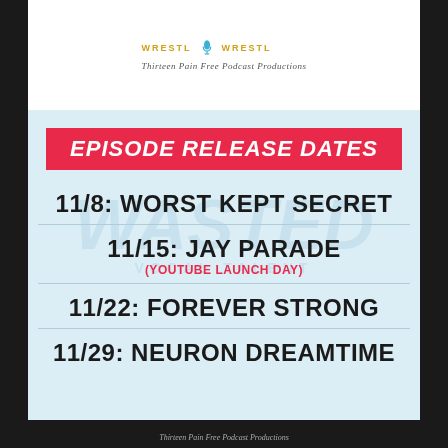[Figure (logo): Podcast logo with microphone icon and text 'WRESTL WRESTL' in gold, with tagline 'Thirteen Pain Free Podcast Productions' below]
EPISODE RELEASE DATES
11/8: WORST KEPT SECRET
11/15: JAY PARADE (YOUTUBE LAUNCH DAY)
11/22: FOREVER STRONG
11/29: NEURON DREAMTIME
Thirteen Pain Free Podcast Productions